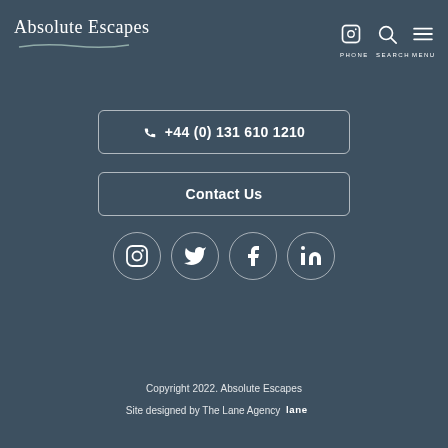Absolute Escapes — PHONE SEARCH MENU
+44 (0) 131 610 1210
Contact Us
[Figure (illustration): Four social media icon circles: Instagram, Twitter, Facebook, LinkedIn]
Copyright 2022. Absolute Escapes
Site designed by The Lane Agency lane